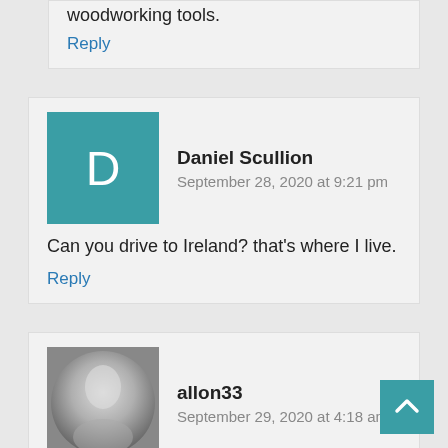woodworking tools.
Reply
Daniel Scullion
September 28, 2020 at 9:21 pm
Can you drive to Ireland? that's where I live.
Reply
allon33
September 29, 2020 at 4:18 am
“Not sure How To tell our SUBSCRIBERS this?!?” I